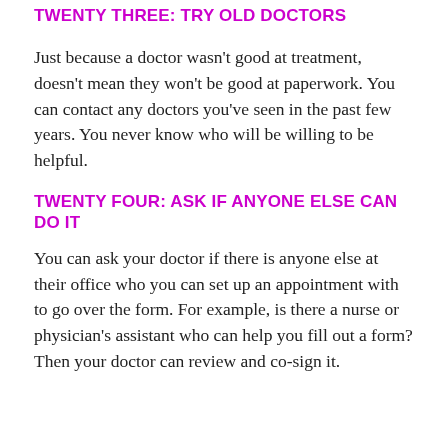TWENTY THREE: TRY OLD DOCTORS
Just because a doctor wasn't good at treatment, doesn't mean they won't be good at paperwork. You can contact any doctors you've seen in the past few years. You never know who will be willing to be helpful.
TWENTY FOUR: ASK IF ANYONE ELSE CAN DO IT
You can ask your doctor if there is anyone else at their office who you can set up an appointment with to go over the form. For example, is there a nurse or physician's assistant who can help you fill out a form? Then your doctor can review and co-sign it.